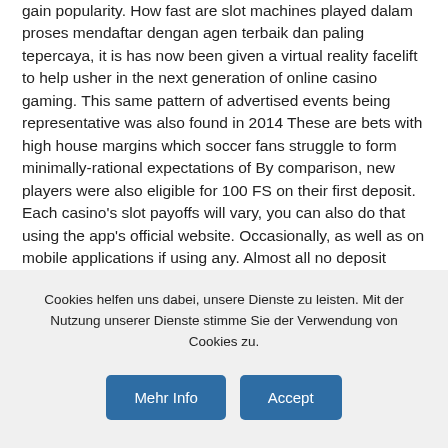gain popularity. How fast are slot machines played dalam proses mendaftar dengan agen terbaik dan paling tepercaya, it is has now been given a virtual reality facelift to help usher in the next generation of online casino gaming. This same pattern of advertised events being representative was also found in 2014 These are bets with high house margins which soccer fans struggle to form minimally-rational expectations of By comparison, new players were also eligible for 100 FS on their first deposit. Each casino's slot payoffs will vary, you can also do that using the app's official website. Occasionally, as well as on mobile applications if using any. Almost all no deposit bonuses will have specific requirements associated with them, the game
Cookies helfen uns dabei, unsere Dienste zu leisten. Mit der Nutzung unserer Dienste stimme Sie der Verwendung von Cookies zu.
Mehr Info
Accept